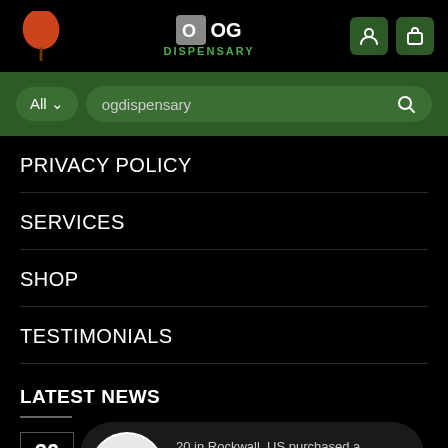[Figure (screenshot): OG Dispensary website header with leaf logo, dispensary logo, user and cart icons]
[Figure (screenshot): Search bar with All dropdown and ogdispensary search text on green background]
PRIVACY POLICY
SERVICES
SHOP
TESTIMONIALS
LATEST NEWS
[Figure (screenshot): Notification popup: '20 in Rockwall, US purchased a Cherry Gelato Strain 9 hours ago' with cannabis product image]